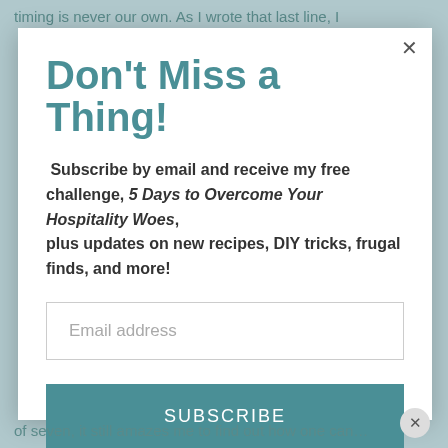timing is never our own. As I wrote that last line, I
Don't Miss a Thing!
Subscribe by email and receive my free challenge, 5 Days to Overcome Your Hospitality Woes, plus updates on new recipes, DIY tricks, frugal finds, and more!
Email address
SUBSCRIBE
of seven, it still amazes me to find out how one can…